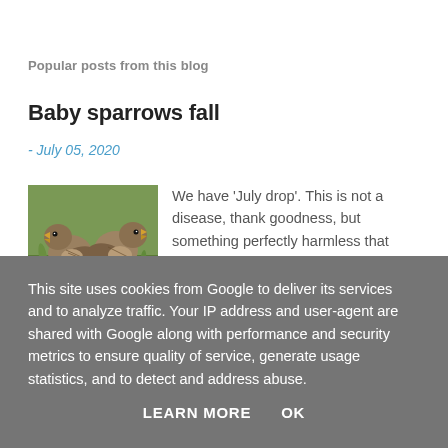Popular posts from this blog
Baby sparrows fall
- July 05, 2020
[Figure (photo): Two baby sparrows with open beaks sitting on green grass]
We have ‘July drop’. This is not a disease, thank goodness, but something perfectly harmless that happens to apples each year…
This site uses cookies from Google to deliver its services and to analyze traffic. Your IP address and user-agent are shared with Google along with performance and security metrics to ensure quality of service, generate usage statistics, and to detect and address abuse.
LEARN MORE   OK